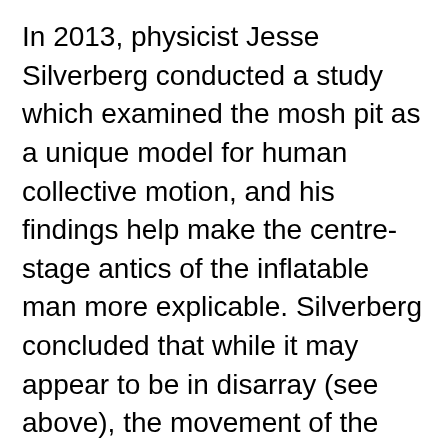In 2013, physicist Jesse Silverberg conducted a study which examined the mosh pit as a unique model for human collective motion, and his findings help make the centre-stage antics of the inflatable man more explicable. Silverberg concluded that while it may appear to be in disarray (see above), the movement of the mosh is ultimately instructed by a few simple rules. In the case of Chaos, rules may mean acceptable attire or haircuts, but Silverberg's more empirical guidelines apply here too. Buzzing to and fro and colliding along the way, Silverberg found that mosh pit phenomena closely resembles the kinetics of gaseous